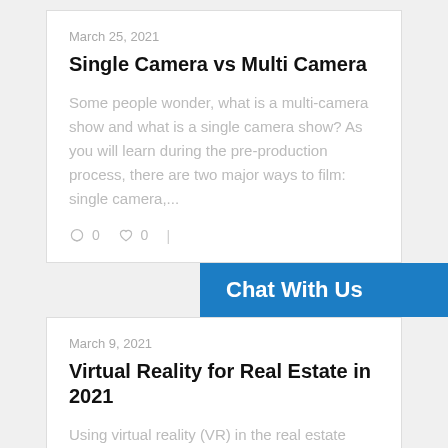March 25, 2021
Single Camera vs Multi Camera
Some people wonder, what is a multi-camera show and what is a single camera show? As you will learn during the pre-production process, there are two major ways to film: single camera,...
0  0 |
Chat With Us
March 9, 2021
Virtual Reality for Real Estate in 2021
Using virtual reality (VR) in the real estate sales